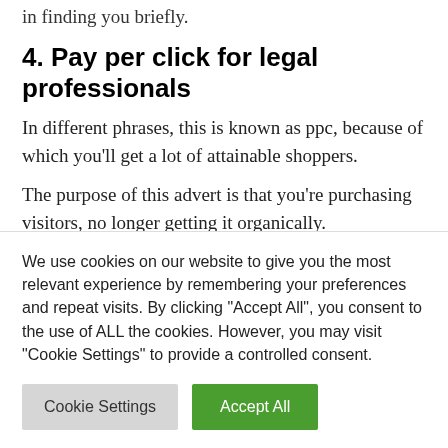in finding you briefly.
4. Pay per click for legal professionals
In different phrases, this is known as ppc, because of which you'll get a lot of attainable shoppers.
The purpose of this advert is that you're purchasing visitors, no longer getting it organically.
This feature is acceptable for many who don't wish to spend months on search engine optimization
We use cookies on our website to give you the most relevant experience by remembering your preferences and repeat visits. By clicking "Accept All", you consent to the use of ALL the cookies. However, you may visit "Cookie Settings" to provide a controlled consent.